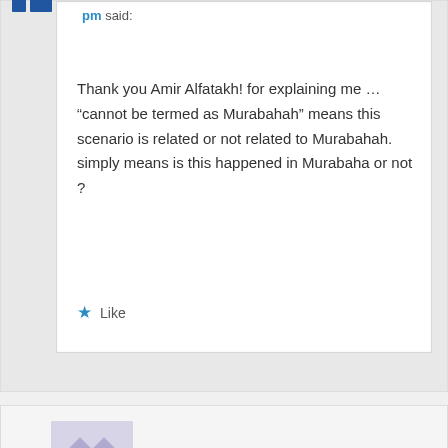pm said:
Thank you Amir Alfatakh! for explaining me … “cannot be termed as Murabahah” means this scenario is related or not related to Murabahah. simply means is this happened in Murabaha or not ?
★ Like
Vijai Ananth on February 25, 2017 at 10:34 pm said: